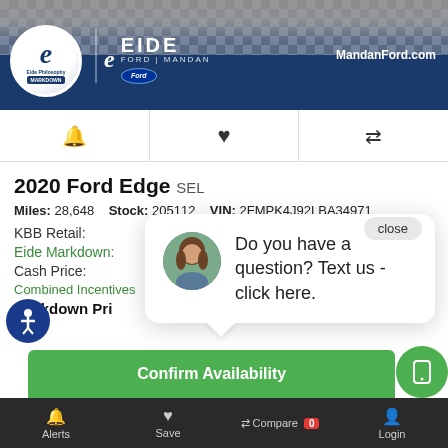[Figure (screenshot): Eide Ford Mandan dealership banner with logo, badge and website URL MandanFord.com]
🔔  ♥  ⇄ (icon bar with alerts, save, compare icons)
2020 Ford Edge SEL
Miles: 28,648   Stock: 205112   VIN: 2FMPK4J92LBA34971
KBB Retail:
Eide Markdown:
Cash Price:
Combined Incentives
Markdown Price:
[Figure (screenshot): Chat popup with woman avatar and text: Do you have a question? Text us - click here. With a close button.]
Confirm Availability
Alerts   Save   Compare 0   Login